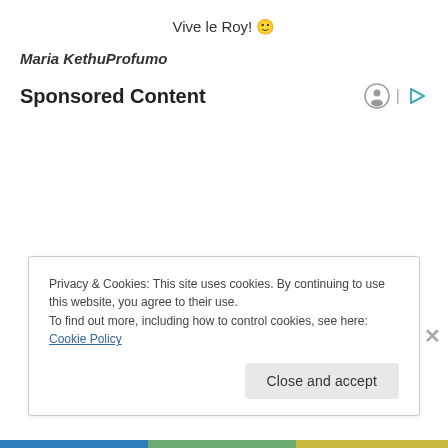Vive le Roy! 🙂
Maria KethuProfumo
Sponsored Content
Privacy & Cookies: This site uses cookies. By continuing to use this website, you agree to their use.
To find out more, including how to control cookies, see here: Cookie Policy